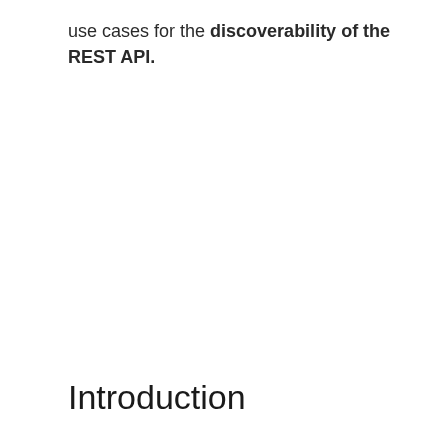use cases for the discoverability of the REST API.
Introduction